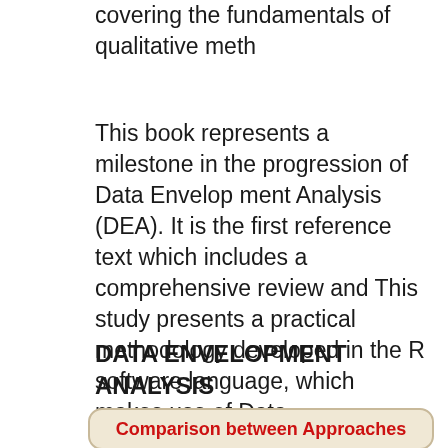covering the fundamentals of qualitative meth
This book represents a milestone in the progression of Data Envelop ment Analysis (DEA). It is the first reference text which includes a comprehensive review and This study presents a practical methodology developed in the R software language, which makes use of Data Envelopment Analysis, in the Constant Returns of Scale model
DATA ENVELOPMENT ANALYSIS A Comprehensive Text with
[Figure (other): Beige rounded box with red bold text 'Comparison between Approaches']